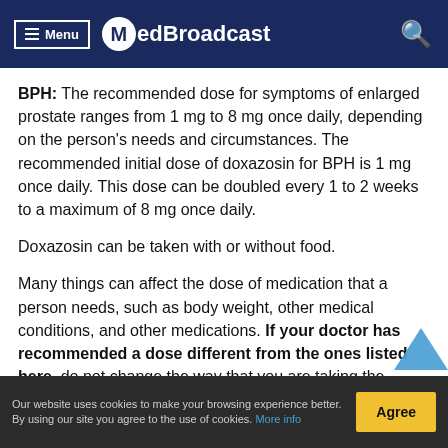Menu | MedBroadcast
BPH: The recommended dose for symptoms of enlarged prostate ranges from 1 mg to 8 mg once daily, depending on the person's needs and circumstances. The recommended initial dose of doxazosin for BPH is 1 mg once daily. This dose can be doubled every 1 to 2 weeks to a maximum of 8 mg once daily.
Doxazosin can be taken with or without food.
Many things can affect the dose of medication that a person needs, such as body weight, other medical conditions, and other medications. If your doctor has recommended a dose different from the ones listed here, do not change the way that you are taking the
Our website uses cookies to make your browsing experience better. By using our site you agree to the use of cookies. More info | Agree